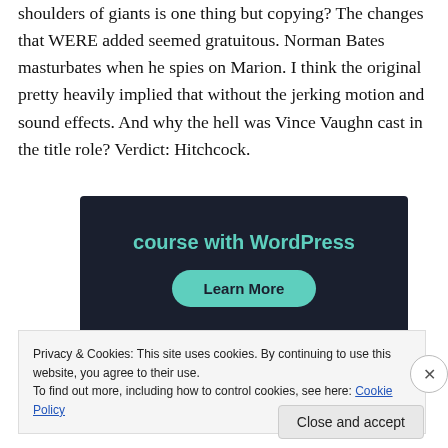shoulders of giants is one thing but copying? The changes that WERE added seemed gratuitous. Norman Bates masturbates when he spies on Marion. I think the original pretty heavily implied that without the jerking motion and sound effects. And why the hell was Vince Vaughn cast in the title role? Verdict: Hitchcock.
[Figure (screenshot): Dark banner advertisement: text 'course with WordPress' in teal on dark background, with a teal 'Learn More' button]
Privacy & Cookies: This site uses cookies. By continuing to use this website, you agree to their use.
To find out more, including how to control cookies, see here: Cookie Policy
Close and accept